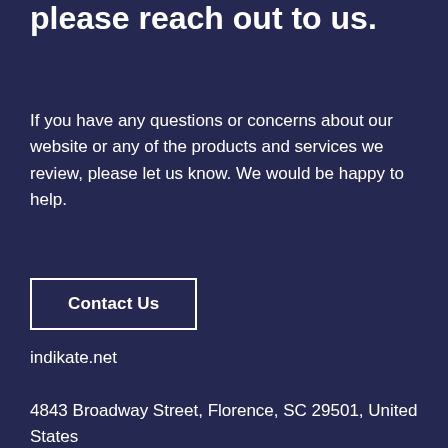please reach out to us.
If you have any questions or concerns about our website or any of the products and services we review, please let us know. We would be happy to help.
Contact Us
indikate.net
4843 Broadway Street, Florence, SC 29501, United States